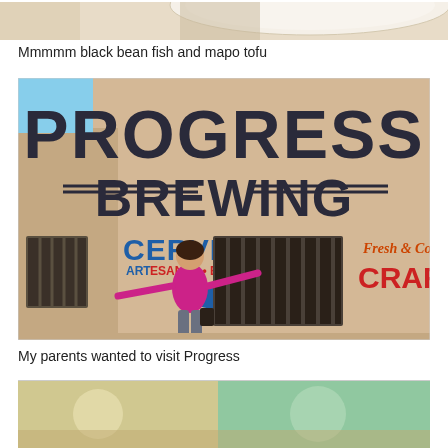[Figure (photo): Top portion of a food photo showing dishes on a table, partially cropped]
Mmmmm black bean fish and mapo tofu
[Figure (photo): Woman in pink sweater standing in front of Progress Brewing building wall with large text 'PROGRESS BREWING' and 'CERVEZA' signs, arms outstretched]
My parents wanted to visit Progress
[Figure (photo): Bottom portion of another photo, partially cropped, showing colorful items on a table]